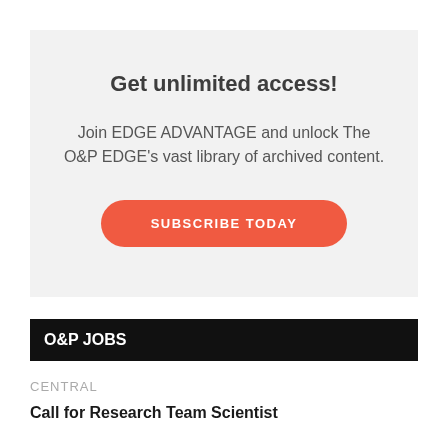Get unlimited access!
Join EDGE ADVANTAGE and unlock The O&P EDGE's vast library of archived content.
SUBSCRIBE TODAY
O&P JOBS
CENTRAL
Call for Research Team Scientist